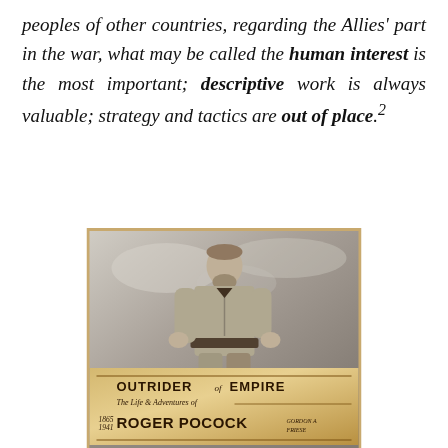peoples of other countries, regarding the Allies' part in the war, what may be called the human interest is the most important; descriptive work is always valuable; strategy and tactics are out of place.²
[Figure (photo): Book cover of 'Outrider of Empire: The Life & Adventures of Roger Pocock', showing a black and white photograph of a man with a beard wearing military/explorer-style clothing with a belt, standing in a posed position. The bottom of the cover features a decorative banner with the book title and author name.]